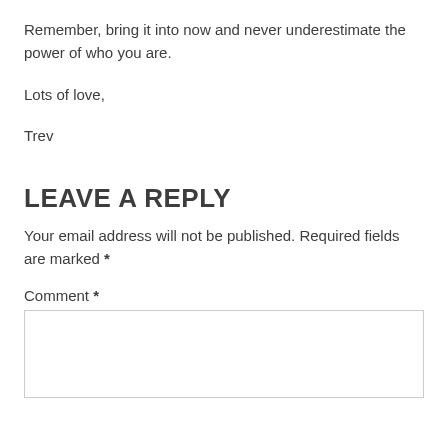Remember, bring it into now and never underestimate the power of who you are.
Lots of love,
Trev
LEAVE A REPLY
Your email address will not be published. Required fields are marked *
Comment *